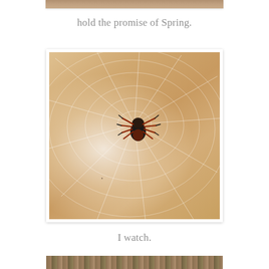[Figure (photo): Partial view of a photo at the top of the page, cropped — only the bottom edge visible, appearing to show an outdoor/nature scene.]
hold the promise of Spring.
[Figure (photo): Close-up photograph of an orb-weaver spider on its web. The spider is in the center of the frame, dark brown/reddish-orange body with black and red legs. The web's silk threads are visible against a warm amber/beige blurred background. A white frame/border surrounds the photo.]
I watch.
[Figure (photo): Partial view of a photo at the bottom of the page, cropped — only the top edge visible, appearing to show a ground/nature scene with earthy tones.]